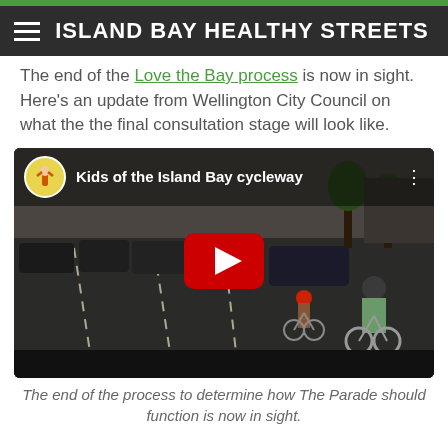ISLAND BAY HEALTHY STREETS
The end of the Love the Bay process is now in sight. Here's an update from Wellington City Council on what the the final consultation stage will look like.
[Figure (screenshot): YouTube video thumbnail showing kids cycling on the Island Bay cycleway with a red YouTube play button overlay. Video title: 'Kids of the Island Bay cycleway']
The end of the process to determine how The Parade should function is now in sight.